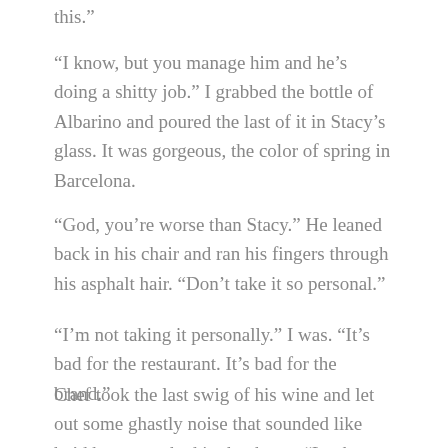this.”
“I know, but you manage him and he’s doing a shitty job.” I grabbed the bottle of Albarino and poured the last of it in Stacy’s glass. It was gorgeous, the color of spring in Barcelona.
“God, you’re worse than Stacy.” He leaned back in his chair and ran his fingers through his asphalt hair. “Don’t take it so personal.”
“I’m not taking it personally.” I was. “It’s bad for the restaurant. It’s bad for the brand.”
Chef took the last swig of his wine and let out some ghastly noise that sounded like he’d been punched in the throat. “Look, you should know this by now, but every day a restaurant stays open is a miracle—a goddamn